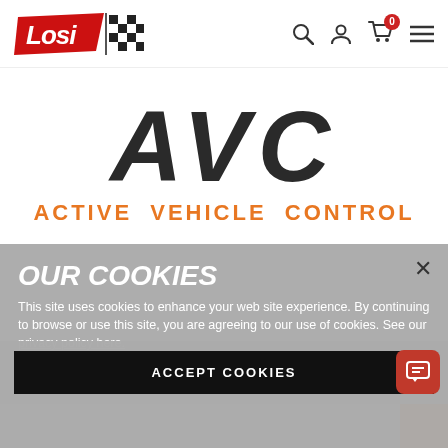[Figure (logo): Losi logo with racing checkered flag pattern]
[Figure (screenshot): Navigation icons: search, user account, cart with 0 badge, hamburger menu]
AVC
ACTIVE VEHICLE CONTROL
OUR COOKIES
This site uses cookies to enhance your web site experience. By continuing to browse or use this site, you are agreeing to our use of cookies. See our privacy policy here.
ACCEPT COOKIES